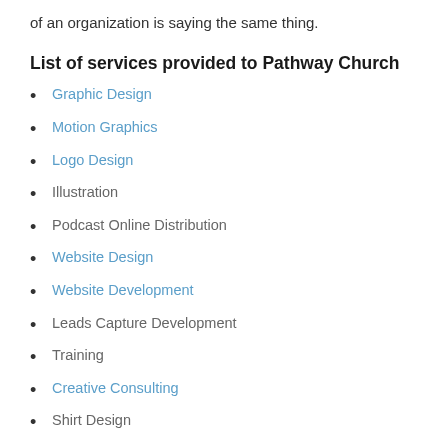of an organization is saying the same thing.
List of services provided to Pathway Church
Graphic Design
Motion Graphics
Logo Design
Illustration
Podcast Online Distribution
Website Design
Website Development
Leads Capture Development
Training
Creative Consulting
Shirt Design